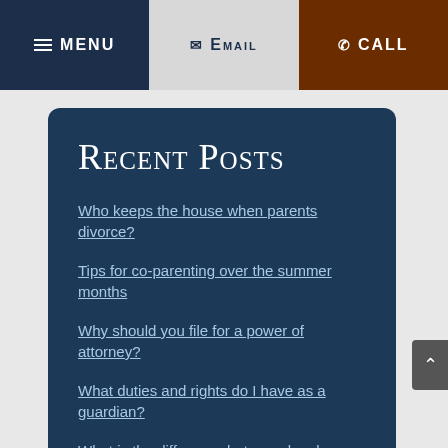MENU | EMAIL | CALL
Recent Posts
Who keeps the house when parents divorce?
Tips for co-parenting over the summer months
Why should you file for a power of attorney?
What duties and rights do I have as a guardian?
What is the difference between legal separation and divorce?